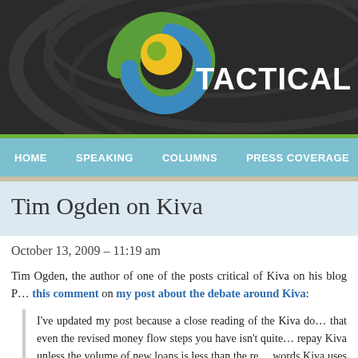[Figure (logo): Tactical Philanthropy website header with swirl logo (green, blue, yellow spiral) and site title 'Tactical Philanthro' (truncated)]
HOME   SPEAKING   COLUMNS   PRESS COVERAGE
Tim Ogden on Kiva
October 13, 2009 – 11:19 am
Tim Ogden, the author of one of the posts critical of Kiva on his blog P… this comment on my post about the debate around Kiva:
I've updated my post because a close reading of the Kiva do… that even the revised money flow steps you have isn't quite… repay Kiva unless the volume of new loans is less than the re… words Kiva uses a portion of new loans to credit the accou… Again, there's nothing fraudulent about this (it's basic accountin… way to keep overhead costs down. But it's just another place w…